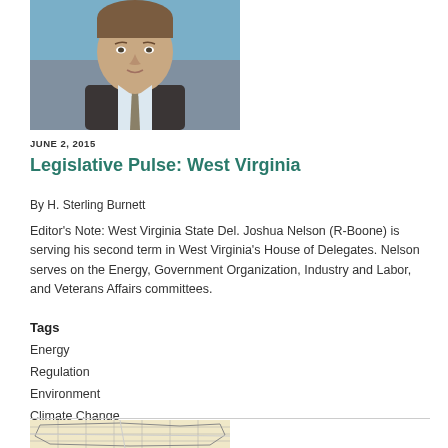[Figure (photo): Headshot photo of a man in a suit and tie against a blue background]
JUNE 2, 2015
Legislative Pulse: West Virginia
By H. Sterling Burnett
Editor’s Note: West Virginia State Del. Joshua Nelson (R-Boone) is serving his second term in West Virginia’s House of Delegates. Nelson serves on the Energy, Government Organization, Industry and Labor, and Veterans Affairs committees.
Tags
Energy
Regulation
Environment
Climate Change
[Figure (map): Partial map image visible at the bottom of the page]